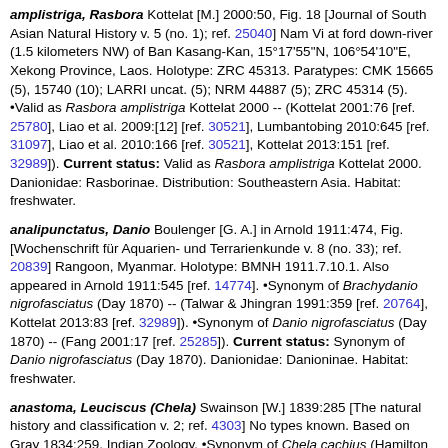amplistriga, Rasbora Kottelat [M.] 2000:50, Fig. 18 [Journal of South Asian Natural History v. 5 (no. 1); ref. 25040] Nam Vi at ford down-river (1.5 kilometers NW) of Ban Kasang-Kan, 15°17'55"N, 106°54'10"E, Xekong Province, Laos. Holotype: ZRC 45313. Paratypes: CMK 15665 (5), 15740 (10); LARRI uncat. (5); NRM 44887 (5); ZRC 45314 (5). •Valid as Rasbora amplistriga Kottelat 2000 -- (Kottelat 2001:76 [ref. 25780], Liao et al. 2009:[12] [ref. 30521], Lumbantobing 2010:645 [ref. 31097], Liao et al. 2010:166 [ref. 30521], Kottelat 2013:151 [ref. 32989]). Current status: Valid as Rasbora amplistriga Kottelat 2000. Danionidae: Rasborinae. Distribution: Southeastern Asia. Habitat: freshwater.
analipunctatus, Danio Boulenger [G. A.] in Arnold 1911:474, Fig. [Wochenschrift für Aquarien- und Terrarienkunde v. 8 (no. 33); ref. 20839] Rangoon, Myanmar. Holotype: BMNH 1911.7.10.1. Also appeared in Arnold 1911:545 [ref. 14774]. •Synonym of Brachydanio nigrofasciatus (Day 1870) -- (Talwar & Jhingran 1991:359 [ref. 20764], Kottelat 2013:83 [ref. 32989]). •Synonym of Danio nigrofasciatus (Day 1870) -- (Fang 2001:17 [ref. 25285]). Current status: Synonym of Danio nigrofasciatus (Day 1870). Danionidae: Danioninae. Habitat: freshwater.
anastoma, Leuciscus (Chela) Swainson [W.] 1839:285 [The natural history and classification v. 2; ref. 4303] No types known. Based on Gray 1834:259, Indian Zoology. •Synonym of Chela cachius (Hamilton 1822) -- (Menon 1999:35 [ref. 24904], Kottelat 2013:87 [ref. 32989] with question). Current status: Synonym of Chela cachius (Hamilton 1822). Danionidae: Danioninae. Habitat: freshwater, brackish.